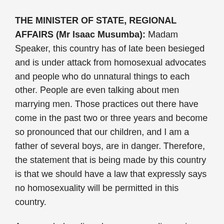THE MINISTER OF STATE, REGIONAL AFFAIRS (Mr Isaac Musumba): Madam Speaker, this country has of late been besieged and is under attack from homosexual advocates and people who do unnatural things to each other. People are even talking about men marrying men. Those practices out there have come in the past two or three years and become so pronounced that our children, and I am a father of several boys, are in danger. Therefore, the statement that is being made by this country is that we should have a law that expressly says no homosexuality will be permitted in this country.
As you ruled earlier when we were discussing the FGM, it is a question of making a statement. Nothing says that if you have a section in the Penal Code you cannot expound on a particular matter in a separate law. There will be no inconsistency and it is something that is permissible